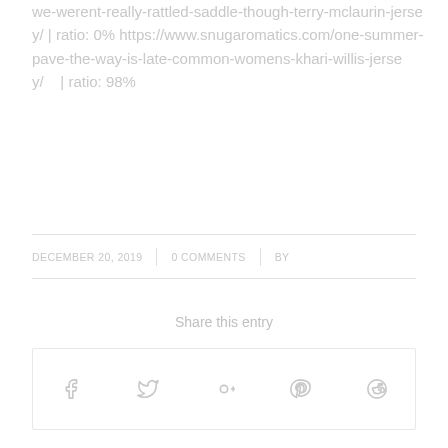we-werent-really-rattled-saddle-though-terry-mclaurin-jersey/ | ratio: 0% https://www.snugaromatics.com/one-summer-pave-the-way-is-late-common-womens-khari-willis-jersey/ | ratio: 98%
DECEMBER 20, 2019   0 COMMENTS   BY
Share this entry